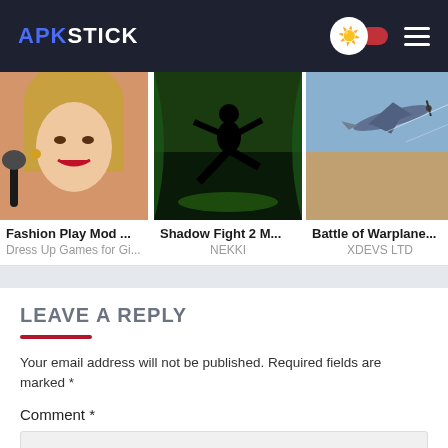APKSTICK
[Figure (screenshot): Three app cards: Fashion Play Mod... (Dress Up Games for Gi... ), Shadow Fight 2 M... (NEKKI), Battle of Warplane... (XDEVS LTD)]
LEAVE A REPLY
Your email address will not be published. Required fields are marked *
Comment *